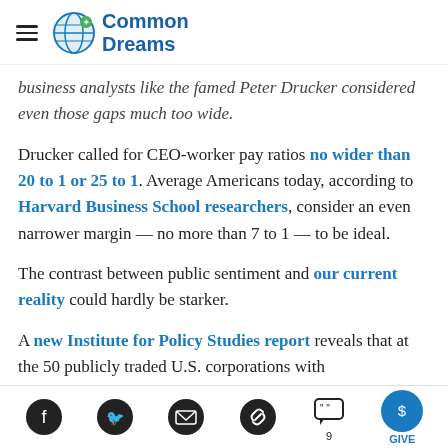Common Dreams
business analysts like the famed Peter Drucker considered even those gaps much too wide.
Drucker called for CEO-worker pay ratios no wider than 20 to 1 or 25 to 1. Average Americans today, according to Harvard Business School researchers, consider an even narrower margin — no more than 7 to 1 — to be ideal.
The contrast between public sentiment and our current reality could hardly be starker.
A new Institute for Policy Studies report reveals that at the 50 publicly traded U.S. corporations with
Social share icons: Facebook, Twitter, Email, Link, Comments (9), Give